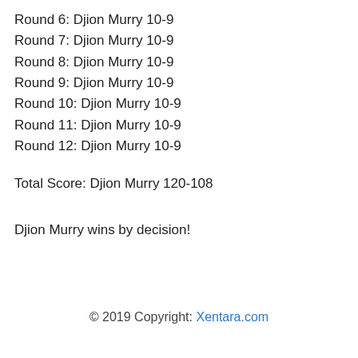Round 6: Djion Murry 10-9
Round 7: Djion Murry 10-9
Round 8: Djion Murry 10-9
Round 9: Djion Murry 10-9
Round 10: Djion Murry 10-9
Round 11: Djion Murry 10-9
Round 12: Djion Murry 10-9
Total Score: Djion Murry 120-108
Djion Murry wins by decision!
© 2019 Copyright: Xentara.com